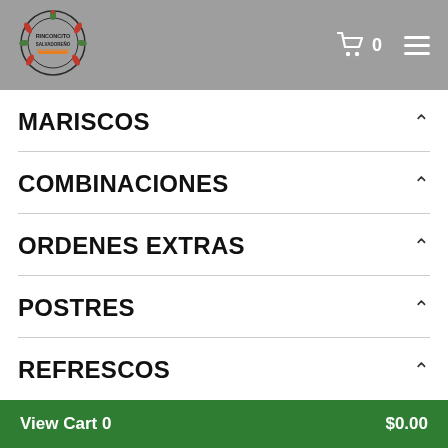[Figure (logo): Rinconcito Salvadoreño restaurant logo — circular emblem with decorative leaves and peppers]
MARISCOS
COMBINACIONES
ORDENES EXTRAS
POSTRES
REFRESCOS
View Cart 0   $0.00